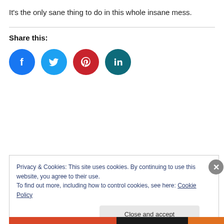It's the only sane thing to do in this whole insane mess.
Share this:
[Figure (other): Social share icons: Facebook (blue circle), Twitter (light blue circle), Pinterest (red circle), LinkedIn (teal circle)]
Privacy & Cookies: This site uses cookies. By continuing to use this website, you agree to their use.
To find out more, including how to control cookies, see here: Cookie Policy
Close and accept